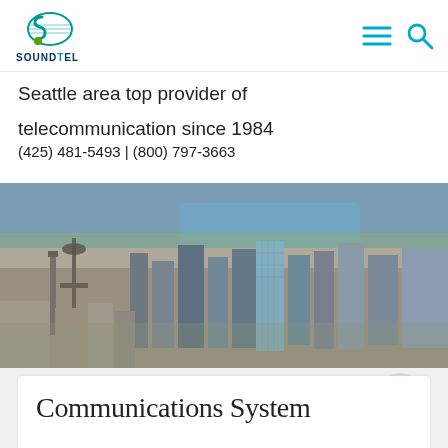[Figure (logo): SoundTel company logo — stylized S with globe lines in teal/green, text SOUNDTEL below in dark blue]
[Figure (illustration): Navigation icons: hamburger menu (three horizontal lines) and magnifying glass search icon in teal/cyan]
Seattle area top provider of
telecommunication since 1984
(425) 481-5493 | (800) 797-3663
[Figure (photo): Aerial photograph of Seattle cityscape with downtown skyscrapers, residential neighborhoods, and a lake or waterway in the background]
Communications System